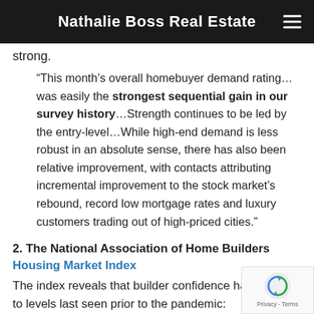Nathalie Boss Real Estate
strong.
“This month’s overall homebuyer demand rating…was easily the strongest sequential gain in our survey history…Strength continues to be led by the entry-level…While high-end demand is less robust in an absolute sense, there has also been relative improvement, with contacts attributing incremental improvement to the stock market’s rebound, record low mortgage rates and luxury customers trading out of high-priced cities.”
2. The National Association of Home Builders Housing Market Index
The index reveals that builder confidence has returned to levels last seen prior to the pandemic: